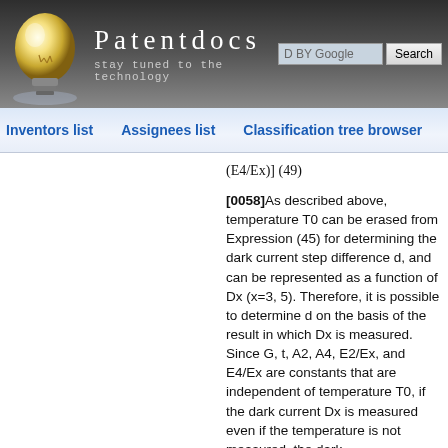[Figure (logo): Patentdocs website header with light bulb logo, site title 'Patentdocs', subtitle 'stay tuned to the technology', and Google search bar]
Inventors list   Assignees list   Classification tree browser
[0058]As described above, temperature T0 can be erased from Expression (45) for determining the dark current step difference d, and can be represented as a function of Dx (x=3, 5). Therefore, it is possible to determine d on the basis of the result in which Dx is measured. Since G, t, A2, A4, E2/Ex, and E4/Ex are constants that are independent of temperature T0, if the dark current Dx is measured even if the temperature is not measured, the dark